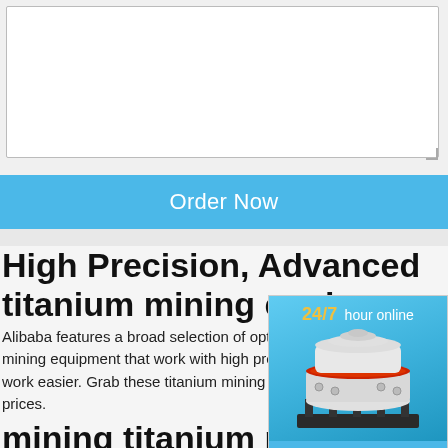[Figure (screenshot): Empty text area input box with gray border]
Order Now
High Precision, Advanced titanium mining equipm
Alibaba features a broad selection of optim mining equipment that work with high preci work easier. Grab these titanium mining eq prices.
mining titanium machin Speed and Fully Autom
Related Searches for mining titanium mach machine zcash mining machine bitcoin min crypto mining machine gpu sha 256 mining
[Figure (infographic): Side widget showing 24/7 hour online text, industrial cone crusher machine image, Click me to chat>> button, Enquiry section, and limingjlmofen name]